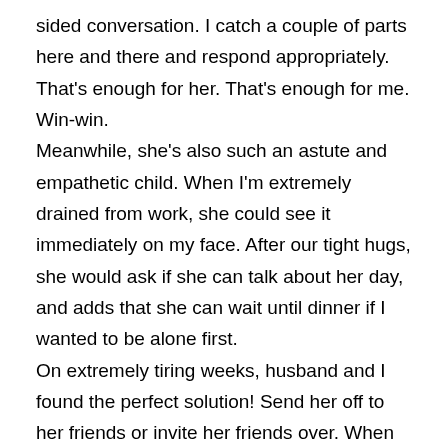sided conversation. I catch a couple of parts here and there and respond appropriately. That's enough for her. That's enough for me. Win-win. Meanwhile, she's also such an astute and empathetic child. When I'm extremely drained from work, she could see it immediately on my face. After our tight hugs, she would ask if she can talk about her day, and adds that she can wait until dinner if I wanted to be alone first. On extremely tiring weeks, husband and I found the perfect solution! Send her off to her friends or invite her friends over. When she's with her friends (ages 12 and 5), the mom gets to recharge as well because she does not have to watch the 5-year-old. Shobe does it for her. They play and make a mess, but Shobe is